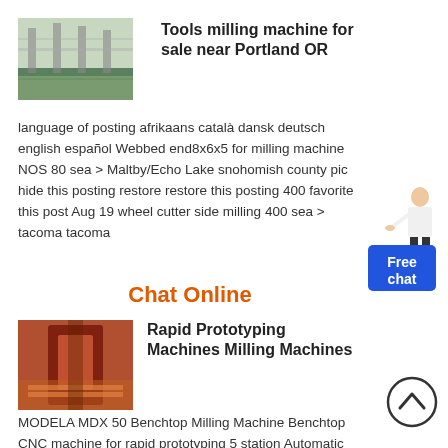[Figure (photo): Interior of a factory or industrial facility with green floor]
Tools milling machine for sale near Portland OR
language of posting afrikaans català dansk deutsch english español Webbed end8x6x5 for milling machine NOS 80 sea > Maltby/Echo Lake snohomish county pic hide this posting restore restore this posting 400 favorite this post Aug 19 wheel cutter side milling 400 sea > tacoma tacoma
Chat Online
[Figure (photo): Industrial machine or rapid prototyping milling machine]
Rapid Prototyping Machines Milling Machines
MODELA MDX 50 Benchtop Milling Machine Benchtop CNC machine for rapid prototyping 5 station Automatic Tool Changercontinuous operation without stopping to change tools Expanded machining
[Figure (illustration): Person pointing with Free chat badge]
[Figure (illustration): Scroll to top circle arrow button]